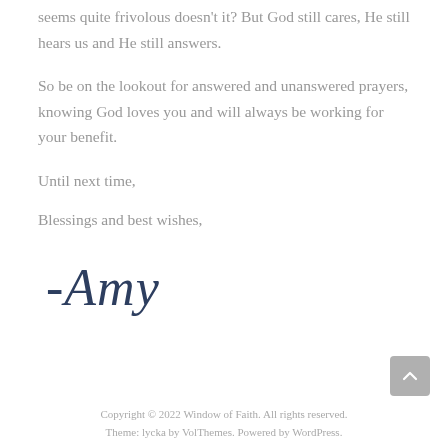seems quite frivolous doesn't it? But God still cares, He still hears us and He still answers.
So be on the lookout for answered and unanswered prayers, knowing God loves you and will always be working for your benefit.
Until next time,
Blessings and best wishes,
[Figure (illustration): Cursive handwritten signature reading '-Amy' in dark navy blue ink]
Copyright © 2022 Window of Faith. All rights reserved.
Theme: lycka by VolThemes. Powered by WordPress.